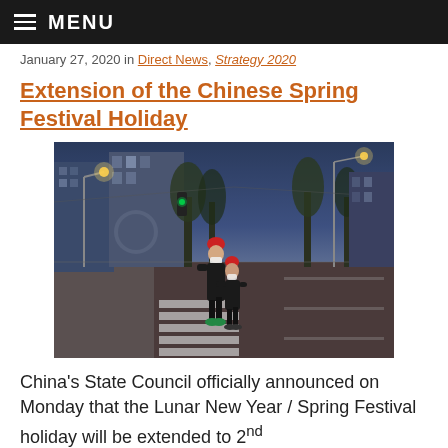≡ MENU
January 27, 2020 in [link], [link]
Extension of the Chinese Spring Festival Holiday
[Figure (photo): Two people wearing face masks and red hats crossing an empty street intersection at dusk in a Chinese city, with street lights illuminated and tall buildings in the background.]
China's State Council officially announced on Monday that the Lunar New Year / Spring Festival holiday will be extended to 2nd February across the country.